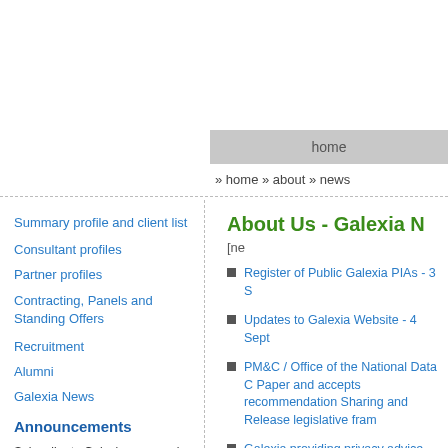home
» home » about » news
Summary profile and client list
Consultant profiles
Partner profiles
Contracting, Panels and Standing Offers
Recruitment
Alumni
Galexia News
Announcements
Subscribe to Galexia news and announcements.
More information »
About Us - Galexia N
[ne
Register of Public Galexia PIAs - 3 S
Updates to Galexia Website - 4 Sept
PM&C / Office of the National Data C Paper and accepts recommendation Sharing and Release legislative fram
Galexia providing privacy advice and Assessment (PIA) on 2021 Census f
Galexia completes privacy advice an Assessment (PIA) on the Naval Ship 2019